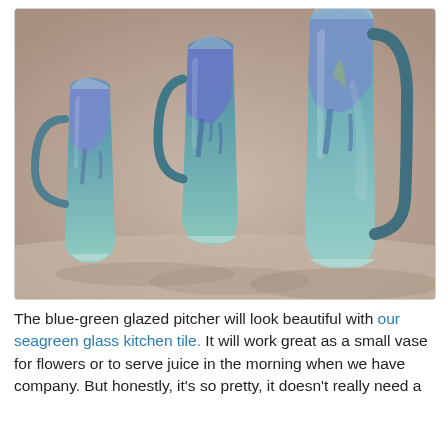[Figure (photo): Three blue-green glazed ceramic pitchers of different sizes arranged together on a light beige background. The pitchers have a flowing, organic shape with blue-purple glaze dripping down from the top over a lighter seafoam/teal glaze. Each pitcher has a handle and a square-ish opening at the top.]
The blue-green glazed pitcher will look beautiful with our seagreen glass kitchen tile. It will work great as a small vase for flowers or to serve juice in the morning when we have company. But honestly, it's so pretty, it doesn't really need a